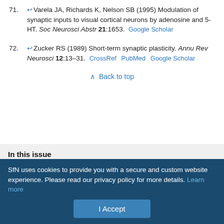71. Varela JA, Richards K, Nelson SB (1995) Modulation of synaptic inputs to visual cortical neurons by adenosine and 5-HT. Soc Neurosci Abstr 21:1653. Google Scholar
72. Zucker RS (1989) Short-term synaptic plasticity. Annu Rev Neurosci 12:13–31. CrossRef PubMed Google Scholar
Back to top
In this issue
[Figure (other): Journal of Neuroscience cover image with purple and blue gradient]
Journal of Neuroscience
Vol. 17, Issue 20
15 Oct 1997
Table of Contents
SfN uses cookies to provide you with a secure and custom website experience. Please read our privacy policy for more details. Learn more
I Accept